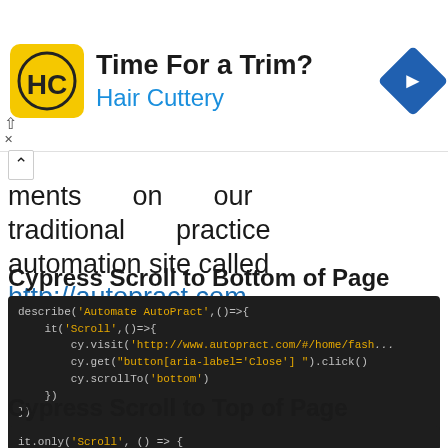[Figure (other): Hair Cuttery advertisement banner with logo, 'Time For a Trim?' headline, and navigation icon]
ments on our traditional practice automation site called http://autopract.com
Cypress Scroll to Bottom of Page
[Figure (screenshot): Code block showing Cypress test: describe('Automate AutoPract',()=>{ it('Scroll',()=>{ cy.visit('http://www.autopract.com/#/home/fash... cy.get("button[aria-label='Close'] ").click() cy.scrollTo('bottom') }) })]
Cypress Scroll to Top of Page
[Figure (screenshot): Code block showing: it.only('Scroll', () => { cy.visit('http://www.autopract.com/#/home/fashion'... cy.scrollTo('bottom')]